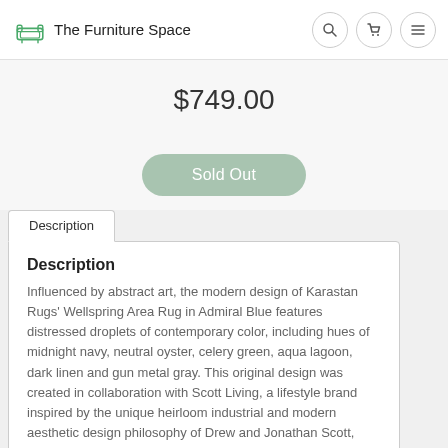The Furniture Space
$749.00
Sold Out
Description
Description
Influenced by abstract art, the modern design of Karastan Rugs' Wellspring Area Rug in Admiral Blue features distressed droplets of contemporary color, including hues of midnight navy, neutral oyster, celery green, aqua lagoon, dark linen and gun metal gray. This original design was created in collaboration with Scott Living, a lifestyle brand inspired by the unique heirloom industrial and modern aesthetic design philosophy of Drew and Jonathan Scott, hosts of HGTVs Property Brothers series. Woven with Karastan Rugs' exclusive ecofriendly EverStrand®, a premium polyester yarn